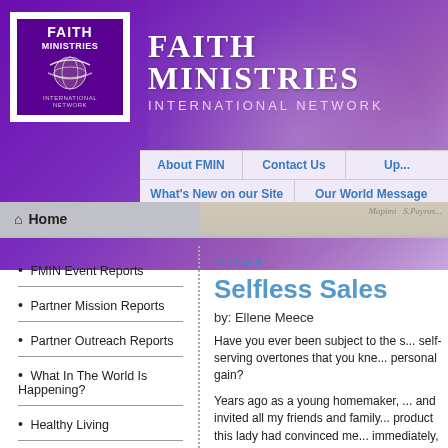[Figure (logo): Faith Ministries International Network logo - white box with purple background, globe graphic, FAITH MINISTRIES text]
FAITH MINISTRIES INTERNATIONAL NETWORK
[Figure (screenshot): Website navigation bar with links: About FMIN, Contact Us, Up[dated], What's New on our Site, Our World Message]
Home
FMIN Event Reports
Partner Mission Reports
Partner Outreach Reports
What In The World Is Happening?
Healthy Living
Look What The Lord Has Done/Heart to Heart
Go Back...
Selfless Sales
by: Ellene Meece
Have you ever been subject to the s... self-serving overtones that you kne... personal gain?
Years ago as a young homemaker, ... and invited all my friends and family... product this lady had convinced me... immediately, her approach turned i... demanding. She had forgotten that ... and joy to those she shared with a...